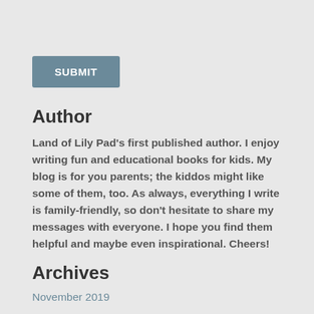SUBMIT
Author
Land of Lily Pad's first published author. I enjoy writing fun and educational books for kids. My blog is for you parents; the kiddos might like some of them, too. As always, everything I write is family-friendly, so don't hesitate to share my messages with everyone. I hope you find them helpful and maybe even inspirational. Cheers!
Archives
November 2019
October 2019
September 2019
August 2019
July 2019